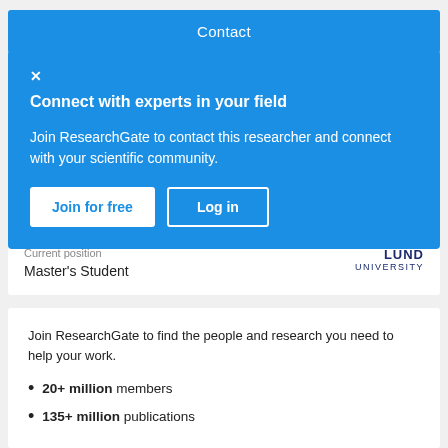Contact
Connect with experts in your field
Join ResearchGate to contact this researcher and connect with your scientific community.
Join for free
Log in
Current position
Master's Student
LUND UNIVERSITY
Join ResearchGate to find the people and research you need to help your work.
20+ million members
135+ million publications